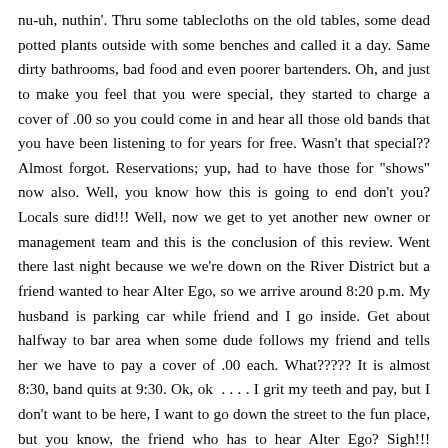nu-uh, nuthin'. Thru some tablecloths on the old tables, some dead potted plants outside with some benches and called it a day. Same dirty bathrooms, bad food and even poorer bartenders. Oh, and just to make you feel that you were special, they started to charge a cover of .00 so you could come in and hear all those old bands that you have been listening to for years for free. Wasn't that special?? Almost forgot. Reservations; yup, had to have those for "shows" now also. Well, you know how this is going to end don't you? Locals sure did!!! Well, now we get to yet another new owner or management team and this is the conclusion of this review. Went there last night because we we're down on the River District but a friend wanted to hear Alter Ego, so we arrive around 8:20 p.m. My husband is parking car while friend and I go inside. Get about halfway to bar area when some dude follows my friend and tells her we have to pay a cover of .00 each. What????? It is almost 8:30, band quits at 9:30. Ok, ok . . . . I grit my teeth and pay, but I don't want to be here, I want to go down the street to the fun place, but you know, the friend who has to hear Alter Ego? Sigh!!! Husband comes in about 5 minutes later, and check this out . . . . . . he doesn't pay! I see the guy who was collecting the money from us go outside and never saw him again. Kidding me, right?? .00 down the drain and haven't even gotten a drink